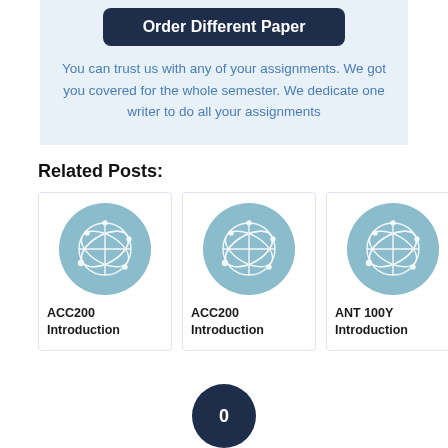Order Different Paper
You can trust us with any of your assignments. We got you covered for the whole semester. We dedicate one writer to do all your assignments
Related Posts:
[Figure (illustration): Card with teal network/geodesic sphere icon, labeled ACC200 Introduction]
[Figure (illustration): Card with teal network/geodesic sphere icon, labeled ACC200 Introduction]
[Figure (illustration): Card with teal network/geodesic sphere icon, labeled ANT 100Y Introduction]
0